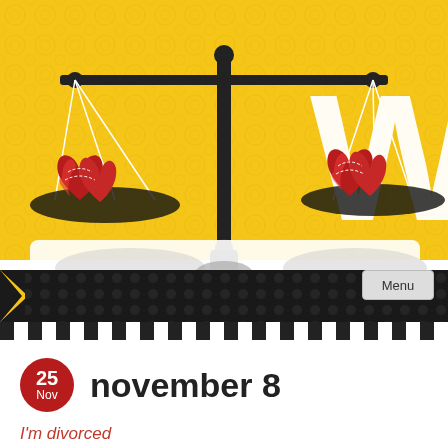[Figure (illustration): Decorative header image showing a balance scale with two red heart-shaped weights on each pan, set against a yellow/golden floral patterned background. A large white letter 'W' is partially visible on the right side. Below the scale image is a white card-like section with grey oval shapes (shadow/placeholder elements). A black navigation bar with a polka dot texture runs across, and a black-and-white checkerboard stripe borders the bottom of the header.]
Menu
25 Nov  november 8
I'm divorced